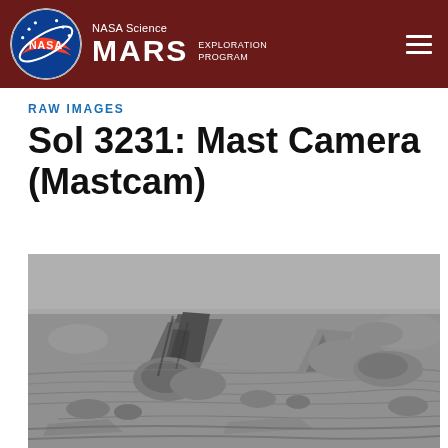NASA Science MARS EXPLORATION PROGRAM
RAW IMAGES
Sol 3231: Mast Camera (Mastcam)
[Figure (photo): Black and white raw image from Mars Curiosity rover Mastcam showing Martian surface with rocks and sedimentary formations on the ground.]